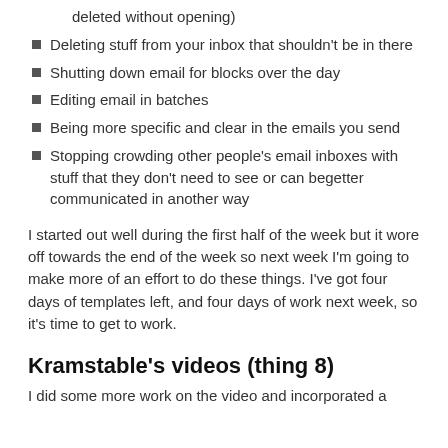deleted without opening)
Deleting stuff from your inbox that shouldn't be in there
Shutting down email for blocks over the day
Editing email in batches
Being more specific and clear in the emails you send
Stopping crowding other people's email inboxes with stuff that they don't need to see or can begetter communicated in another way
I started out well during the first half of the week but it wore off towards the end of the week so next week I'm going to make more of an effort to do these things. I've got four days of templates left, and four days of work next week, so it's time to get to work.
Kramstable's videos (thing 8)
I did some more work on the video and incorporated a